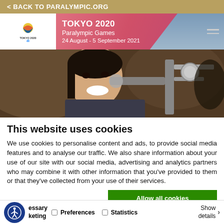< BACK TO PARALYMPIC.ORG
[Figure (screenshot): Tokyo 2020 Paralympic Games navigation bar with logo, pink gradient banner showing TOKYO 2020 Paralympic Games 24 August - 5 September 2021, and hamburger menu]
[Figure (photo): A smiling female Paralympic shooter holding a rifle at a shooting range]
This website uses cookies
We use cookies to personalise content and ads, to provide social media features and to analyse our traffic. We also share information about your use of our site with our social media, advertising and analytics partners who may combine it with other information that you've provided to them or that they've collected from your use of their services.
Allow all cookies
Allow selection
Use necessary cookies
Necessary   Preferences   Statistics   Show details